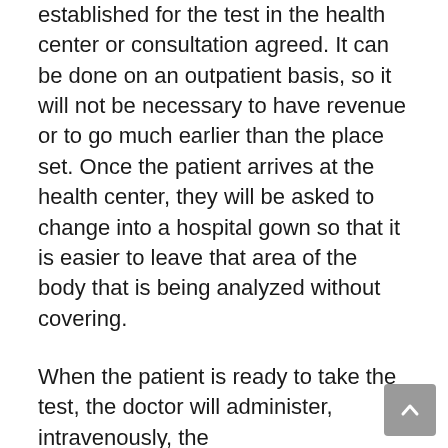established for the test in the health center or consultation agreed. It can be done on an outpatient basis, so it will not be necessary to have revenue or to go much earlier than the place set. Once the patient arrives at the health center, they will be asked to change into a hospital gown so that it is easier to leave that area of the body that is being analyzed without covering.
When the patient is ready to take the test, the doctor will administer, intravenously, the radiopharmaceutical that helps to see the area to be analyzed more easily. Sometimes, it is possible that it is administered orally or inhaled, but it is not the most common. It takes about an hour to take effect, so the patient will have to wait until the scan can